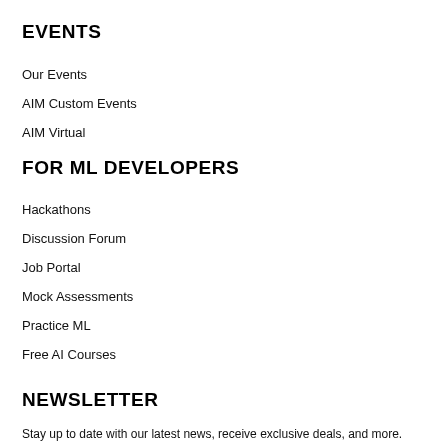EVENTS
Our Events
AIM Custom Events
AIM Virtual
FOR ML DEVELOPERS
Hackathons
Discussion Forum
Job Portal
Mock Assessments
Practice ML
Free AI Courses
NEWSLETTER
Stay up to date with our latest news, receive exclusive deals, and more.